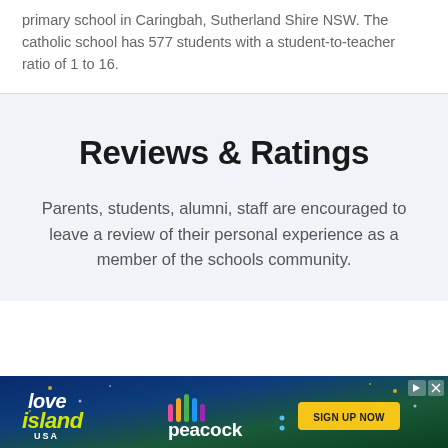primary school in Caringbah, Sutherland Shire NSW. The catholic school has 577 students with a student-to-teacher ratio of 1 to 16.
Reviews & Ratings
Parents, students, alumni, staff are encouraged to leave a review of their personal experience as a member of the schools community.
[Figure (other): Love Island USA on Peacock advertisement banner with 'SIGN UP NOW' button]